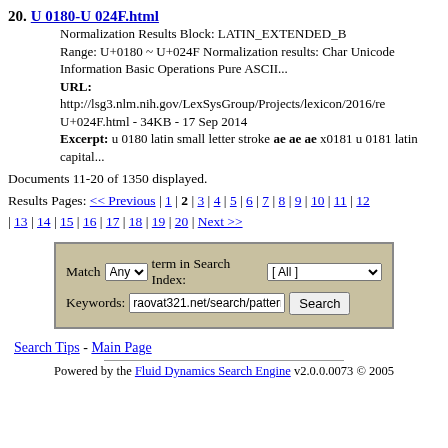20. U 0180-U 024F.html
Normalization Results Block: LATIN_EXTENDED_B
Range: U+0180 ~ U+024F Normalization results: Char Unicode Information Basic Operations Pure ASCII...
URL: http://lsg3.nlm.nih.gov/LexSysGroup/Projects/lexicon/2016/re U+024F.html - 34KB - 17 Sep 2014
Excerpt: u 0180 latin small letter stroke ae ae ae x0181 u 0181 latin capital...
Documents 11-20 of 1350 displayed.
Results Pages: << Previous | 1 | 2 | 3 | 4 | 5 | 6 | 7 | 8 | 9 | 10 | 11 | 12 | 13 | 14 | 15 | 16 | 17 | 18 | 19 | 20 | Next >>
Search Tips - Main Page
Powered by the Fluid Dynamics Search Engine v2.0.0.0073 © 2005